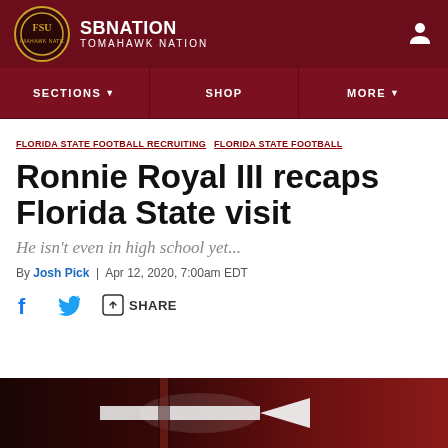SBNation — Tomahawk Nation
SECTIONS   SHOP   MORE
FLORIDA STATE FOOTBALL RECRUITING   FLORIDA STATE FOOTBALL
Ronnie Royal III recaps Florida State visit
He isn't even in high school yet...
By Josh Pick | Apr 12, 2020, 7:00am EDT
[Figure (screenshot): Social share bar with Facebook, Twitter, and Share icons]
[Figure (photo): Dark red background image with glowing arrow element, partial view at bottom of page]